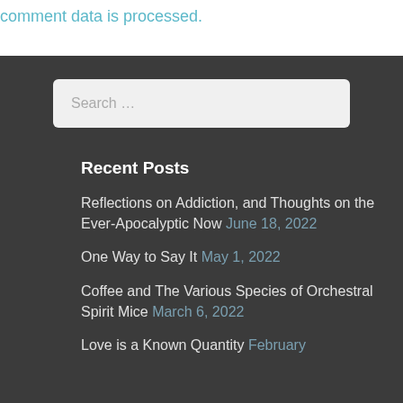comment data is processed.
Recent Posts
Reflections on Addiction, and Thoughts on the Ever-Apocalyptic Now June 18, 2022
One Way to Say It May 1, 2022
Coffee and The Various Species of Orchestral Spirit Mice March 6, 2022
Love is a Known Quantity February